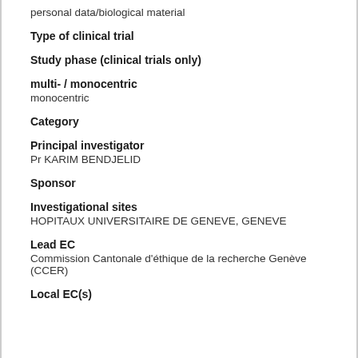personal data/biological material
Type of clinical trial
Study phase (clinical trials only)
multi- / monocentric
monocentric
Category
Principal investigator
Pr KARIM BENDJELID
Sponsor
Investigational sites
HOPITAUX UNIVERSITAIRE DE GENEVE, GENEVE
Lead EC
Commission Cantonale d'éthique de la recherche Genève (CCER)
Local EC(s)